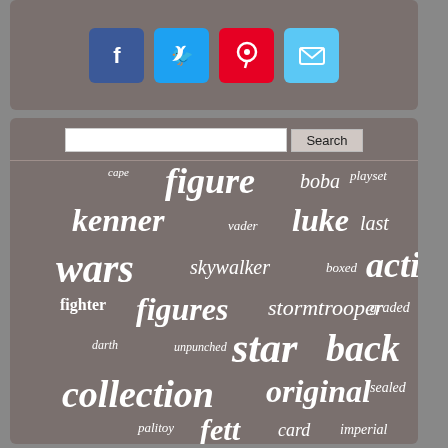[Figure (other): Social media share buttons: Facebook, Twitter, Pinterest, Email]
[Figure (infographic): Tag cloud of Star Wars collectibles keywords: figure, boba, playset, cape, kenner, luke, last, vader, wars, skywalker, boxed, action, fighter, figures, stormtrooper, graded, darth, unpunched, star, back, collection, original, sealed, palitoy, fett, card, imperial, vintage, jawa, rotj, rare, complete, potf, jedi, death]
Search